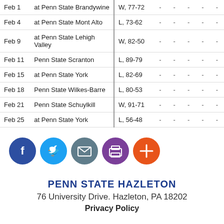| Date | Opponent | Result | - | - | - | - | - |
| --- | --- | --- | --- | --- | --- | --- | --- |
| Feb 1 | at Penn State Brandywine | W, 77-72 | - | - | - | - | - |
| Feb 4 | at Penn State Mont Alto | L, 73-62 | - | - | - | - | - |
| Feb 9 | at Penn State Lehigh Valley | W, 82-50 | - | - | - | - | - |
| Feb 11 | Penn State Scranton | L, 89-79 | - | - | - | - | - |
| Feb 15 | at Penn State York | L, 82-69 | - | - | - | - | - |
| Feb 18 | Penn State Wilkes-Barre | L, 80-53 | - | - | - | - | - |
| Feb 21 | Penn State Schuylkill | W, 91-71 | - | - | - | - | - |
| Feb 25 | at Penn State York | L, 56-48 | - | - | - | - | - |
[Figure (infographic): Social media share buttons: Facebook (blue), Twitter (light blue), Email (grey), Print (purple), Add (orange-red)]
PENN STATE HAZLETON
76 University Drive. Hazleton, PA 18202
Privacy Policy